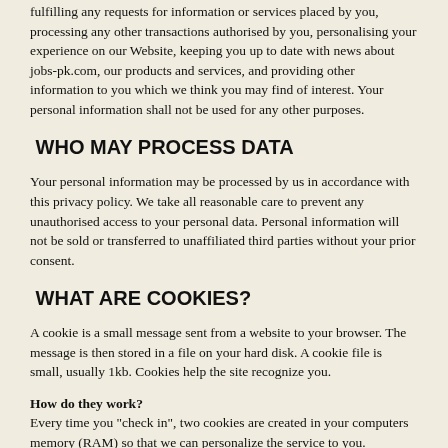fulfilling any requests for information or services placed by you, processing any other transactions authorised by you, personalising your experience on our Website, keeping you up to date with news about jobs-pk.com, our products and services, and providing other information to you which we think you may find of interest. Your personal information shall not be used for any other purposes.
WHO MAY PROCESS DATA
Your personal information may be processed by us in accordance with this privacy policy. We take all reasonable care to prevent any unauthorised access to your personal data. Personal information will not be sold or transferred to unaffiliated third parties without your prior consent.
WHAT ARE COOKIES?
A cookie is a small message sent from a website to your browser. The message is then stored in a file on your hard disk. A cookie file is small, usually 1kb. Cookies help the site recognize you.
How do they work?
Every time you "check in", two cookies are created in your computers memory (RAM) so that we can personalize the service to you.
How does jobs-pk.com use cookies?
We only use cookies to create your own personalized pages of the site. When you "Log in", we send 2 cookies to your internet browser. This allows us to retrieve your choices and prior selected options (for example, which language you have choosed to browse the site) and present them to you on a web page. There are two types of cookie - permanent and temporary. We use temporary cookies to avoid any possible threat to your privacy.